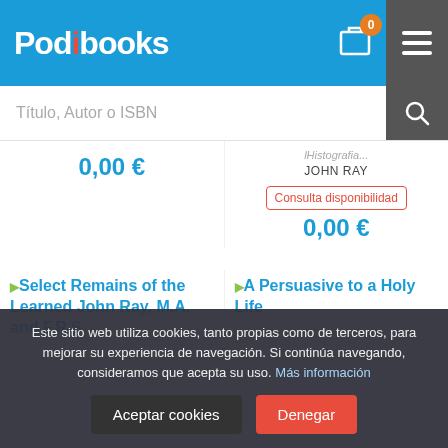[Figure (screenshot): Podibooks website header with logo, cart icon showing 0 items, and hamburger menu on blue background]
Título, Autor o ISBN
0,00 €
JOHN RAY
Consulta disponibilidad
0,00 €
Select Remains of the Learned John Ray, M.A. and F.R.S.
A Persuasive to a Holy Life
Este sitio web utiliza cookies, tanto propias como de terceros, para mejorar su experiencia de navegación. Si continúa navegando, consideramos que acepta su uso. Más información
Aceptar cookies
Denegar